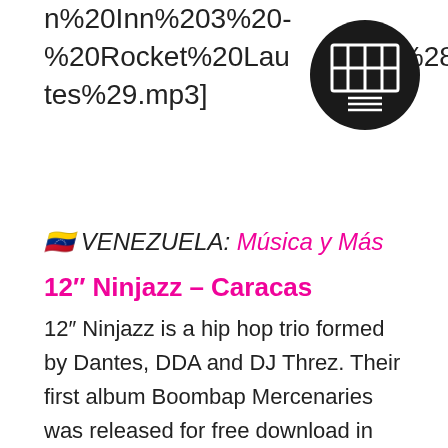n%20Inn%203%20-%20Rocket%20Launch%28United%20States%29.mp3]
[Figure (logo): Black circular logo with stylized rectangular grid/lines symbol and three horizontal lines below it]
🇻🇪 VENEZUELA: Múscia y Más
12″ Ninjazz – Caracas
12″ Ninjazz is a hip hop trio formed by Dantes, DDA and DJ Threz. Their first album Boombap Mercenaries was released for free download in August 2012 and by the end of the year was listed as one of the best in the country. Boombap Mercenaries was mixed and mastered by musician Pedro Laprea in collaboration with well-known producers of the underground scene.